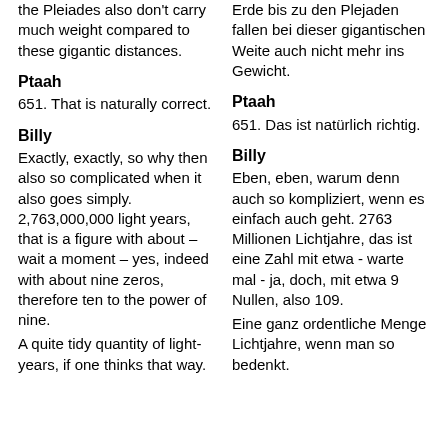the Pleiades also don't carry much weight compared to these gigantic distances.
Erde bis zu den Plejaden fallen bei dieser gigantischen Weite auch nicht mehr ins Gewicht.
Ptaah
Ptaah
651. That is naturally correct.
651. Das ist natürlich richtig.
Billy
Billy
Exactly, exactly, so why then also so complicated when it also goes simply. 2,763,000,000 light years, that is a figure with about – wait a moment – yes, indeed with about nine zeros, therefore ten to the power of nine.
Eben, eben, warum denn auch so kompliziert, wenn es einfach auch geht. 2763 Millionen Lichtjahre, das ist eine Zahl mit etwa - warte mal - ja, doch, mit etwa 9 Nullen, also 109.
A quite tidy quantity of light-years, if one thinks that way.
Eine ganz ordentliche Menge Lichtjahre, wenn man so bedenkt.